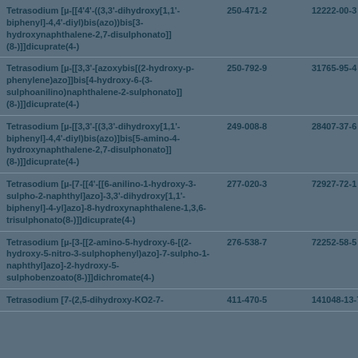| Name | EC No | CAS No |
| --- | --- | --- |
| Tetrasodium [µ-[[4'4'-((3,3'-dihydroxy[1,1'-biphenyl]-4,4'-diyl)bis(azo))bis[3-hydroxynaphthalene-2,7-disulphonato]](8-)]]dicuprate(4-) | 250-471-2 | 12222-00-3 |
| Tetrasodium [µ-[[3,3'-[azoxybis[(2-hydroxy-p-phenylene)azo]]bis[4-hydroxy-6-(3-sulphoanilino)naphthalene-2-sulphonato]](8-)]]dicuprate(4-) | 250-792-9 | 31765-95-4 |
| Tetrasodium [µ-[[3,3'-[(3,3'-dihydroxy[1,1'-biphenyl]-4,4'-diyl)bis(azo)]bis[5-amino-4-hydroxynaphthalene-2,7-disulphonato]](8-)]]dicuprate(4-) | 249-008-8 | 28407-37-6 |
| Tetrasodium [µ-[7-[[4'-[[6-anilino-1-hydroxy-3-sulpho-2-naphthyl]azo]-3,3'-dihydroxy[1,1'-biphenyl]-4-yl]azo]-8-hydroxynaphthalene-1,3,6-trisulphonato(8-)]]dicuprate(4-) | 277-020-3 | 72927-72-1 |
| Tetrasodium [µ-[3-[[2-amino-5-hydroxy-6-[(2-hydroxy-5-nitro-3-sulphophenyl)azo]-7-sulpho-1-naphthyl]azo]-2-hydroxy-5-sulphobenzoato(8-)]]dichromate(4-) | 276-538-7 | 72252-58-5 |
| Tetrasodium [7-(2,5-dihydroxy-KO2-7-... | 411-470-5 | 141048-13-7 |